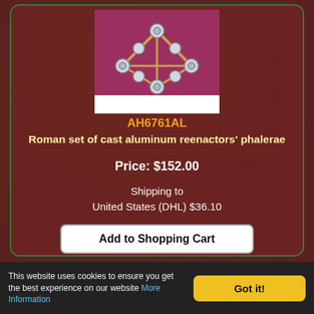[Figure (photo): Roman set of cast aluminum reenactors phalerae - silver colored medallion set on red background, with white label bar at bottom]
AH6761AL
Roman set of cast aluminum reenactors' phalerae
Price: $152.00
Shipping to
United States (DHL) $36.10
Add to Shopping Cart
[Figure (photo): Roman phalerae set - gold/bronze colored medallion decorative set on white background]
This website uses cookies to ensure you get the best experience on our website More Information
Got it!